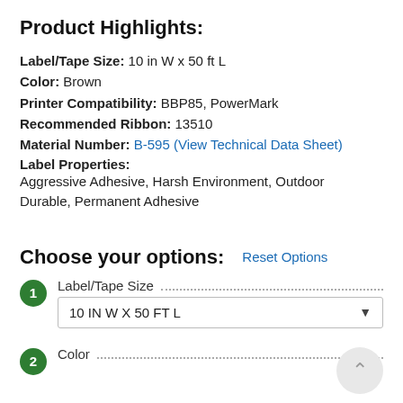Product Highlights:
Label/Tape Size: 10 in W x 50 ft L
Color: Brown
Printer Compatibility: BBP85, PowerMark
Recommended Ribbon: 13510
Material Number: B-595 (View Technical Data Sheet)
Label Properties:
Aggressive Adhesive, Harsh Environment, Outdoor Durable, Permanent Adhesive
Choose your options:
Reset Options
1 Label/Tape Size
10 IN W X 50 FT L
2 Color